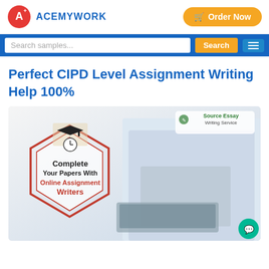ACEMYWORK | Order Now | Search samples... | Search
Perfect CIPD Level Assignment Writing Help 100%
[Figure (illustration): Promotional image showing a student working on a laptop next to a hexagonal badge graphic reading 'Complete Your Papers With Online Assignment Writers', with a 'Source Essay Writing Service' watermark in the top right corner.]